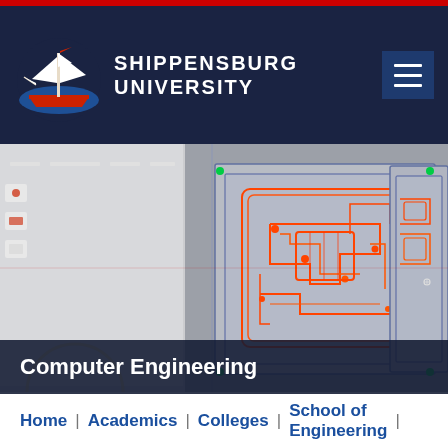Shippensburg University
[Figure (screenshot): Screenshot of a PCB (printed circuit board) design software showing circuit board layouts with red traces and blue outlines on a gray background, displayed on a monitor screen]
Computer Engineering
Home | Academics | Colleges | School of Engineering |